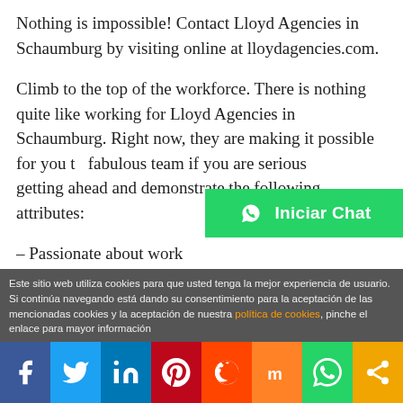Nothing is impossible! Contact Lloyd Agencies in Schaumburg by visiting online at lloydagencies.com.
Climb to the top of the workforce. There is nothing quite like working for Lloyd Agencies in Schaumburg. Right now, they are making it possible for you to join their fabulous team if you are serious about getting ahead and demonstrate the following attributes:
– Passionate about work
[Figure (other): WhatsApp 'Iniciar Chat' button overlay in green with WhatsApp icon]
Este sitio web utiliza cookies para que usted tenga la mejor experiencia de usuario. Si continúa navegando está dando su consentimiento para la aceptación de las mencionadas cookies y la aceptación de nuestra política de cookies, pinche el enlace para mayor información